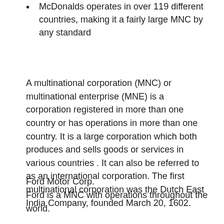McDonalds operates in over 119 different countries, making it a fairly large MNC by any standard
A multinational corporation (MNC) or multinational enterprise (MNE) is a corporation registered in more than one country or has operations in more than one country. It is a large corporation which both produces and sells goods or services in various countries . It can also be referred to as an international corporation. The first multinational corporation was the Dutch East India Company, founded March 20, 1602.
Ford Motor Corp.
Ford is a MNC with operations throughout the world.